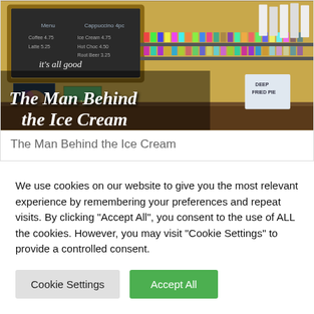[Figure (photo): Interior of an ice cream shop showing a chalkboard menu reading 'it's all good', colorful merchandise display, cups/containers on shelves, and a counter area. Overlaid italic white text reads 'The Man Behind the Ice Cream'.]
The Man Behind the Ice Cream
We use cookies on our website to give you the most relevant experience by remembering your preferences and repeat visits. By clicking "Accept All", you consent to the use of ALL the cookies. However, you may visit "Cookie Settings" to provide a controlled consent.